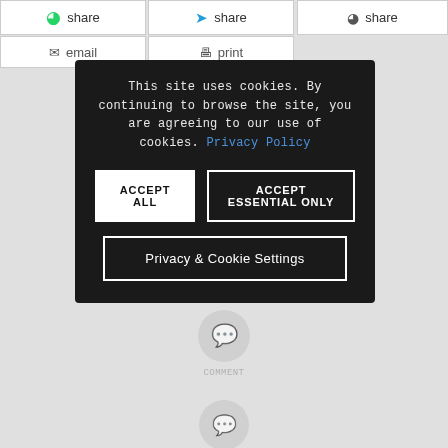share (WhatsApp)
share (Telegram)
share (Viber)
email
print
This site uses cookies. By continuing to browse the site, you are agreeing to our use of cookies. Privacy Policy
ACCEPT ALL
ACCEPT ESSENTIAL ONLY
Privacy & Cookie Settings